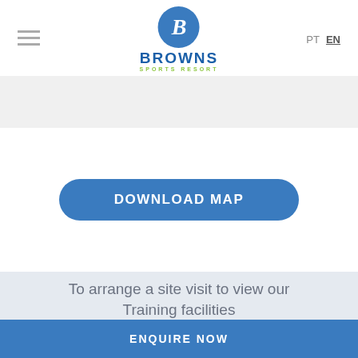BROWNS SPORTS RESORT | PT EN
[Figure (screenshot): Gray banner placeholder strip below header]
DOWNLOAD MAP
To arrange a site visit to view our Training facilities
ENQUIRE NOW